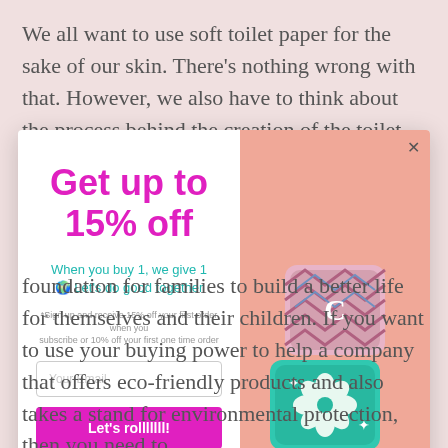We all want to use soft toilet paper for the sake of our skin. There's nothing wrong with that. However, we also have to think about the process behind the creation of the toilet paper
[Figure (screenshot): Popup modal with promotional offer: 'Get up to 15% off' in magenta. Subtext in teal: 'When you buy 1, we give 1 🌍 Let's do good together'. Fine print about 15% off first order. Email input field and 'Let's rolllllll!' button in magenta. Right side shows stacked decorative toilet paper rolls on peach/salmon background.]
foundation for families to build a better life for themselves and their children. If you want to use your buying power to help a company that offers eco-friendly products and also takes a stand for environmental protection, then you need to